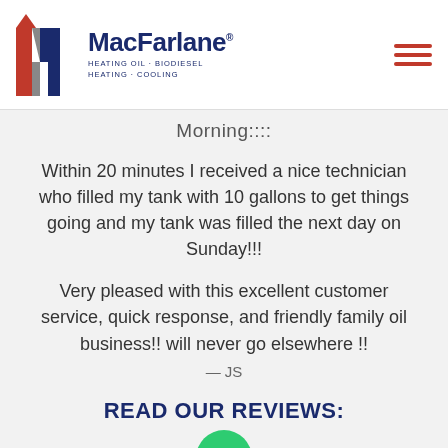[Figure (logo): MacFarlane logo with red and blue M shape and text reading MacFarlane Heating Oil · Biodiesel Heating · Cooling]
Morning::::
Within 20 minutes I received a nice technician who filled my tank with 10 gallons to get things going and my tank was filled the next day on Sunday!!!
Very pleased with this excellent customer service, quick response, and friendly family oil business!! will never go elsewhere !!
— JS
READ OUR REVIEWS: